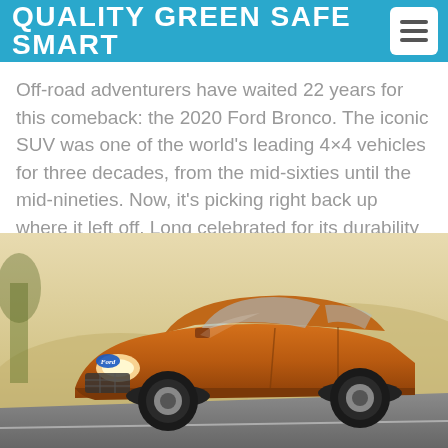QUALITY GREEN SAFE SMART
Off-road adventurers have waited 22 years for this comeback: the 2020 Ford Bronco. The iconic SUV was one of the world's leading 4×4 vehicles for three decades, from the mid-sixties until the mid-nineties. Now, it's picking right back up where it left off. Long celebrated for its durability and off-roading aptitude, the legendary vehicle is(…)
[Figure (photo): Orange Ford EcoSport SUV driving on a road with blurred background showing trees and hills in warm golden light.]